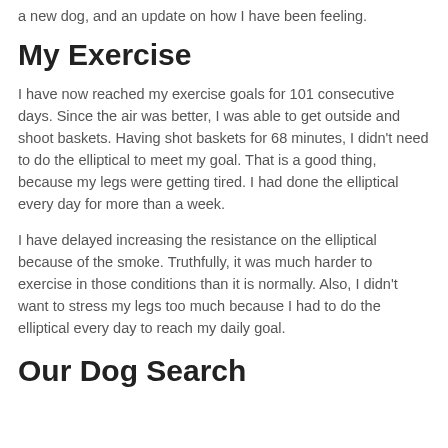a new dog, and an update on how I have been feeling.
My Exercise
I have now reached my exercise goals for 101 consecutive days. Since the air was better, I was able to get outside and shoot baskets. Having shot baskets for 68 minutes, I didn’t need to do the elliptical to meet my goal. That is a good thing, because my legs were getting tired. I had done the elliptical every day for more than a week.
I have delayed increasing the resistance on the elliptical because of the smoke. Truthfully, it was much harder to exercise in those conditions than it is normally. Also, I didn’t want to stress my legs too much because I had to do the elliptical every day to reach my daily goal.
Our Dog Search